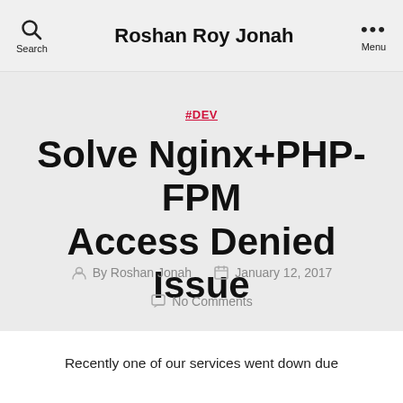Roshan Roy Jonah
#DEV
Solve Nginx+PHP-FPM Access Denied Issue
By Roshan Jonah   January 12, 2017
No Comments
Recently one of our services went down due